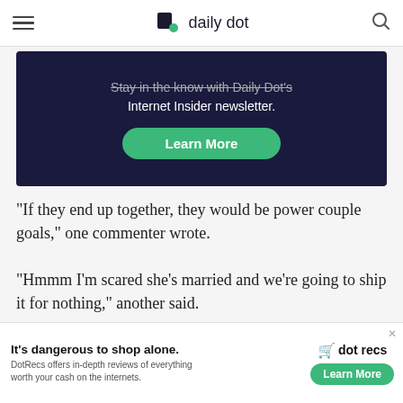daily dot
[Figure (screenshot): Daily Dot newsletter signup banner with dark navy background, text 'Stay in the know with Daily Dot's Internet Insider newsletter.' and green 'Learn More' button]
“If they end up together, they would be power couple goals,” one commenter wrote.
“Hmmm I’m scared she’s married and we’re going to ship it for nothing,” another said.
“I agree. There’s a connection,” a third added.
Some TikTok edits “shipping” Depp and Vasquez have reached up to 713,000 views. The Australian gift
[Figure (screenshot): Advertisement banner: 'It's dangerous to shop alone.' DotRecs offers in-depth reviews of everything worth your cash on the internets. Learn More button.]